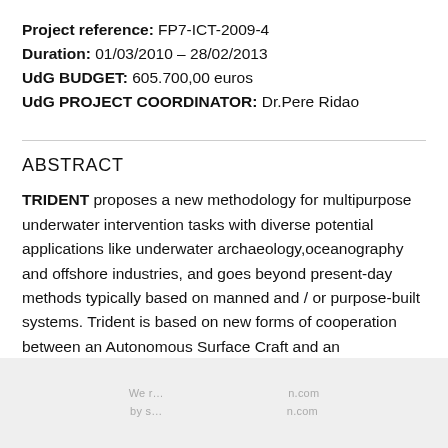Project reference: FP7-ICT-2009-4
Duration: 01/03/2010 – 28/02/2013
UdG BUDGET: 605.700,00 euros
UdG PROJECT COORDINATOR: Dr.Pere Ridao
ABSTRACT
TRIDENT proposes a new methodology for multipurpose underwater intervention tasks with diverse potential applications like underwater archaeology,oceanography and offshore industries, and goes beyond present-day methods typically based on manned and / or purpose-built systems. Trident is based on new forms of cooperation between an Autonomous Surface Craft and an